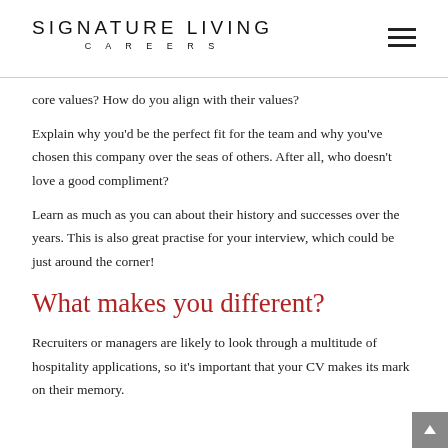SIGNATURE LIVING CAREERS
core values? How do you align with their values?
Explain why you’d be the perfect fit for the team and why you’ve chosen this company over the seas of others. After all, who doesn’t love a good compliment?
Learn as much as you can about their history and successes over the years. This is also great practise for your interview, which could be just around the corner!
What makes you different?
Recruiters or managers are likely to look through a multitude of hospitality applications, so it’s important that your CV makes its mark on their memory.